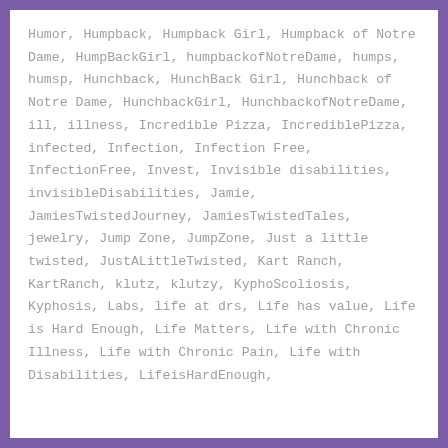Humor, Humpback, Humpback Girl, Humpback of Notre Dame, HumpBackGirl, humpbackofNotreDame, humps, humsp, Hunchback, HunchBack Girl, Hunchback of Notre Dame, HunchbackGirl, HunchbackofNotreDame, ill, illness, Incredible Pizza, IncrediblePizza, infected, Infection, Infection Free, InfectionFree, Invest, Invisible disabilities, invisibleDisabilities, Jamie, JamiesTwistedJourney, JamiesTwistedTales, jewelry, Jump Zone, JumpZone, Just a little twisted, JustALittleTwisted, Kart Ranch, KartRanch, klutz, klutzy, KyphoScoliosis, Kyphosis, Labs, life at drs, Life has value, Life is Hard Enough, Life Matters, Life with Chronic Illness, Life with Chronic Pain, Life with Disabilities, LifeisHardEnough,